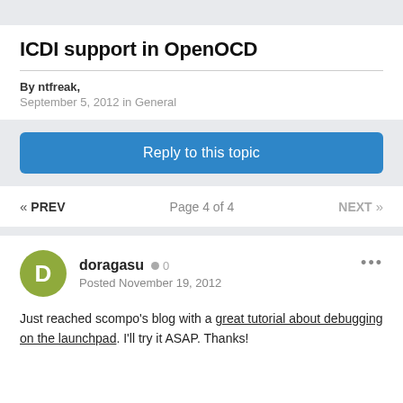ICDI support in OpenOCD
By ntfreak,
September 5, 2012 in General
Reply to this topic
« PREV   Page 4 of 4   NEXT »
doragasu  0
Posted November 19, 2012
Just reached scompo's blog with a great tutorial about debugging on the launchpad. I'll try it ASAP. Thanks!